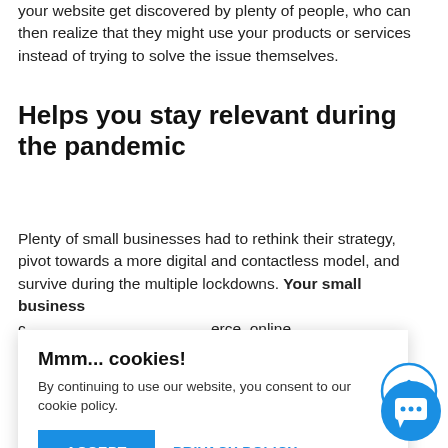your website get discovered by plenty of people, who can then realize that they might use your products or services instead of trying to solve the issue themselves.
Helps you stay relevant during the pandemic
Plenty of small businesses had to rethink their strategy, pivot towards a more digital and contactless model, and survive during the multiple lockdowns. Your small business … erce, online … es, as well as …
… ge if you … n see … some …
from the comfort of their home
[Figure (screenshot): Cookie consent banner with title 'Mmm... cookies!', message 'By continuing to use our website, you consent to our cookie policy.', ACCEPT button (blue), and PRIVACY POLICY link (blue text). A circular scroll-to-top arrow button and a circular blue chat button are also visible.]